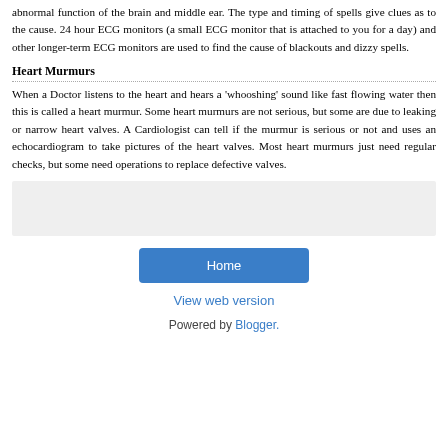abnormal function of the brain and middle ear.  The type and timing of spells give clues as to the cause.  24 hour ECG monitors (a small ECG monitor that is attached to you for a day) and other longer-term ECG monitors are used to find the cause of blackouts and dizzy spells.
Heart Murmurs
When a Doctor listens to the heart and hears a 'whooshing' sound like fast flowing water then this is called a heart murmur. Some heart murmurs are not serious, but some are due to leaking or narrow heart valves.  A Cardiologist can tell if the murmur is serious or not and uses an echocardiogram to take pictures of the heart valves.  Most heart murmurs just need regular checks, but some need operations to replace defective valves.
[Figure (other): Gray shaded rectangular box area]
Home
View web version
Powered by Blogger.